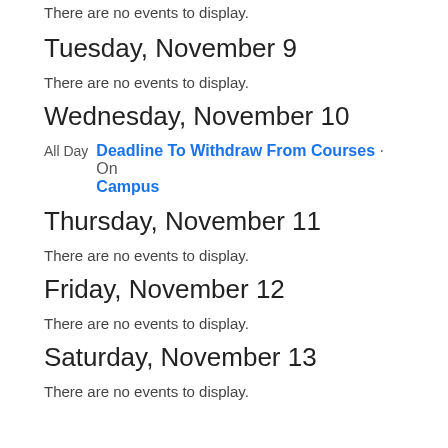There are no events to display.
Tuesday, November 9
There are no events to display.
Wednesday, November 10
All Day  Deadline To Withdraw From Courses · On Campus
Thursday, November 11
There are no events to display.
Friday, November 12
There are no events to display.
Saturday, November 13
There are no events to display.